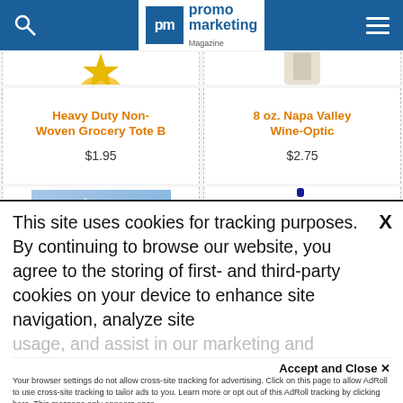promo marketing Magazine
Heavy Duty Non-Woven Grocery Tote B
$1.95
8 oz. Napa Valley Wine-Optic
$2.75
[Figure (photo): Blue holiday greeting card with snowflake design, text 'Season's Greetings']
[Figure (photo): Blue plastic water bottle with white flip-top lid]
This site uses cookies for tracking purposes. By continuing to browse our website, you agree to the storing of first- and third-party cookies on your device to enhance site navigation, analyze site usage, and assist in our marketing and
Accept and Close ✕
Your browser settings do not allow cross-site tracking for advertising. Click on this page to allow AdRoll to use cross-site tracking to tailor ads to you. Learn more or opt out of this AdRoll tracking by clicking here. This message only appears once.
Privacy Policy | Terms of Use | Close